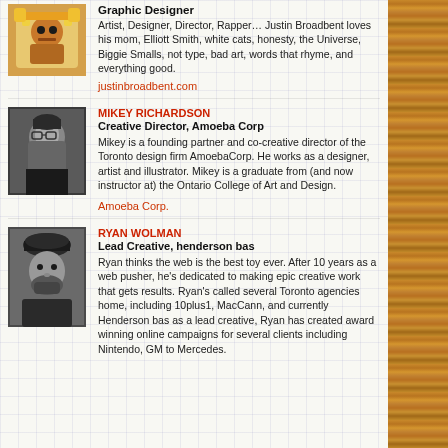Graphic Designer
Artist, Designer, Director, Rapper… Justin Broadbent loves his mom, Elliott Smith, white cats, honesty, the Universe, Biggie Smalls, not type, bad art, words that rhyme, and everything good.
justinbroadbent.com
MIKEY RICHARDSON
Creative Director, Amoeba Corp
Mikey is a founding partner and co-creative director of the Toronto design firm AmoebaCorp. He works as a designer, artist and illustrator. Mikey is a graduate from (and now instructor at) the Ontario College of Art and Design.
Amoeba Corp.
RYAN WOLMAN
Lead Creative, henderson bas
Ryan thinks the web is the best toy ever. After 10 years as a web pusher, he's dedicated to making epic creative work that gets results. Ryan's called several Toronto agencies home, including 10plus1, MacCann, and currently Henderson bas as a lead creative, Ryan has created award winning online campaigns for several clients including Nintendo, GM to Mercedes.